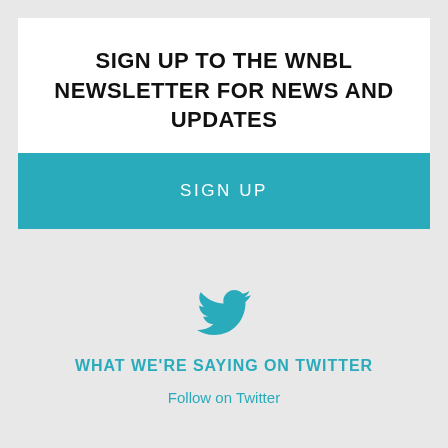SIGN UP TO THE WNBL NEWSLETTER FOR NEWS AND UPDATES
SIGN UP
[Figure (logo): Twitter bird icon in teal color]
WHAT WE'RE SAYING ON TWITTER
Follow on Twitter